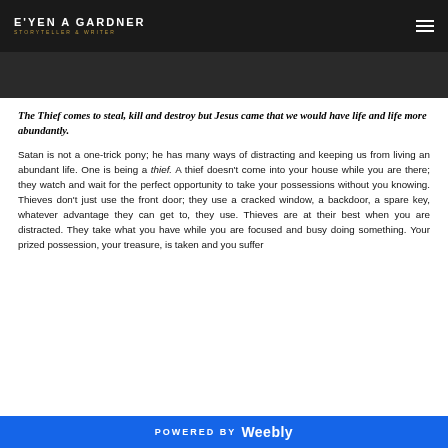E'YEN A GARDNER STORYTELLER & WRITER
The Thief comes to steal, kill and destroy but Jesus came that we would have life and life more abundantly.
Satan is not a one-trick pony; he has many ways of distracting and keeping us from living an abundant life. One is being a thief. A thief doesn't come into your house while you are there; they watch and wait for the perfect opportunity to take your possessions without you knowing. Thieves don't just use the front door; they use a cracked window, a backdoor, a spare key, whatever advantage they can get to, they use. Thieves are at their best when you are distracted. They take what you have while you are focused and busy doing something. Your prized possession, your treasure, is taken and you suffer
POWERED BY Weebly